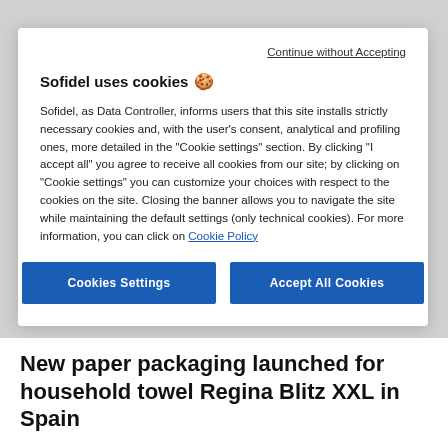Continue without Accepting
Sofidel uses cookies 🍪
Sofidel, as Data Controller, informs users that this site installs strictly necessary cookies and, with the user's consent, analytical and profiling ones, more detailed in the "Cookie settings" section. By clicking "I accept all" you agree to receive all cookies from our site; by clicking on "Cookie settings" you can customize your choices with respect to the cookies on the site. Closing the banner allows you to navigate the site while maintaining the default settings (only technical cookies). For more information, you can click on Cookie Policy
Cookies Settings
Accept All Cookies
New paper packaging launched for household towel Regina Blitz XXL in Spain
Sofidel pursues its path towards more environmentally-sustainable product development by launching in